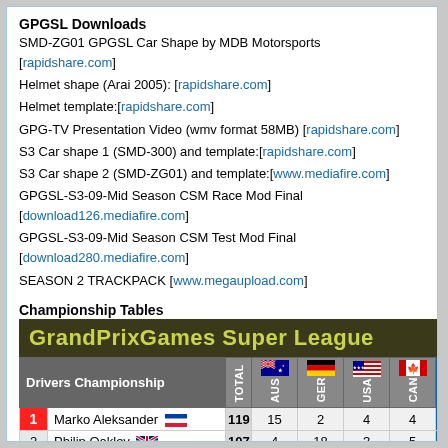GPGSL Downloads
SMD-ZG01 GPGSL Car Shape by MDB Motorsports [rapidshare.com]
Helmet shape (Arai 2005): [rapidshare.com]
Helmet template:[rapidshare.com]
GPG-TV Presentation Video (wmv format 58MB) [rapidshare.com]
S3 Car shape 1 (SMD-300) and template:[rapidshare.com]
S3 Car shape 2 (SMD-ZG01) and template:[www.mediafire.com]
GPGSL-S3-09-Mid Season CSM Race Mod Final [download126.mediafire.com]
GPGSL-S3-09-Mid Season CSM Test Mod Final [download280.mediafire.com]
SEASON 2 TRACKPACK [www.megaupload.com]
Championship Tables
| Drivers Championship | TOTAL | AUS | GER | USA | CAN |
| --- | --- | --- | --- | --- | --- |
| 1 Marko Aleksander | 119 | 15 | 2 | 4 | 4 |
| 2 Philip Oakley | 107 | 4 | 18 | 3 | 5 |
| 3 Ed Greenhalgh | 82 | 6 | 13 | 13 | 1 |
| 4 Ross Cartwright | 67 | 8 | DNF | 8 | 21 |
| 5 ... | 85 | 18 | DNF | ... | 17 |